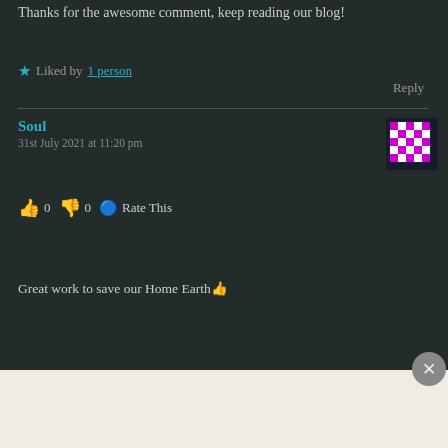Thanks for the awesome comment, keep reading our blog!
★ Liked by 1 person
Reply
Soul
31st July 2021 at 11:20 pm
👍 0 👎 0 🔵 Rate This
Great work to save our Home Earth👍
Advertisements
Need a website quickly – and on a budget?